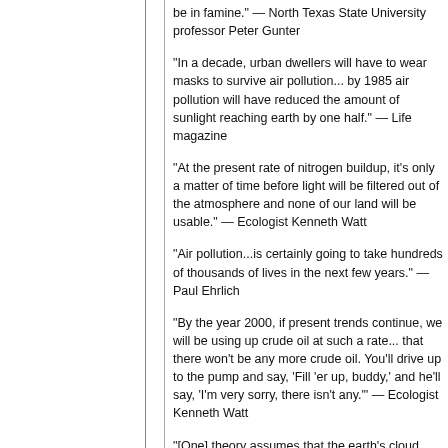be in famine.” — North Texas State University professor Peter Gunter
“In a decade, urban dwellers will have to wear masks to survive air pollution... by 1985 air pollution will have reduced the amount of sunlight reaching earth by one half.” — Life magazine
“At the present rate of nitrogen buildup, it’s only a matter of time before light will be filtered out of the atmosphere and none of our land will be usable.” — Ecologist Kenneth Watt
“Air pollution...is certainly going to take hundreds of thousands of lives in the next few years.” — Paul Ehrlich
“By the year 2000, if present trends continue, we will be using up crude oil at such a rate... that there won't be any more crude oil. You'll drive up to the pump and say, ‘Fill ’er up, buddy,’ and he’ll say, ‘I’m very sorry, there isn’t any.’” — Ecologist Kenneth Watt
“[One] theory assumes that the earth’s cloud cover will continue to thicken as more dust, fumes, and water vapor are belched into the atmosphere.